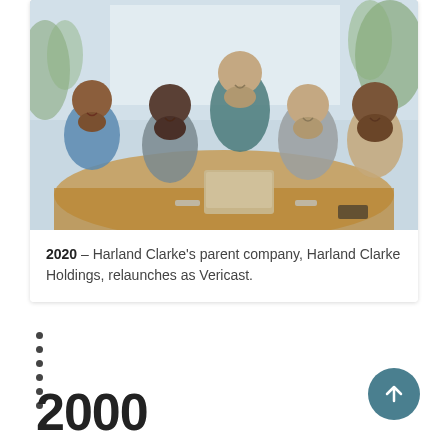[Figure (photo): Office meeting photo showing five diverse professionals gathered around a conference table with a laptop, smiling at the camera in a bright office setting with plants in the background.]
2020 – Harland Clarke's parent company, Harland Clarke Holdings, relaunches as Vericast.
2000